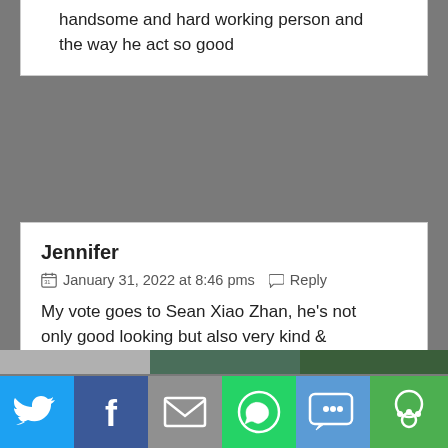handsome and hard working person and the way he act so good
Jennifer
January 31, 2022 at 8:46 pms   Reply
My vote goes to Sean Xiao Zhan, he's not only good looking but also very kind &
We use cookies on our website to give you the most relevant experience by remembering your preferences and repeat visits. By clicking "Accept All", you consent to the use of ALL the cookies. However, you may visit "Cookie Settings" to provide a controlled consent.
[Figure (infographic): Social share bar with Twitter, Facebook, email, WhatsApp, SMS, and more buttons]